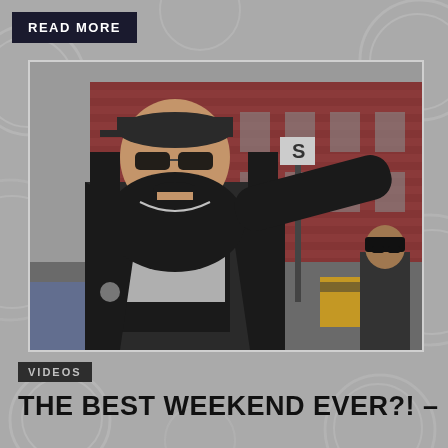READ MORE
[Figure (photo): A man with long hair, dark cap, sunglasses and a leather jacket with pins, wearing a band t-shirt, shouting and gesturing with his arm outstretched, standing on a street in front of a red brick building. Another person visible in the background to the right.]
VIDEOS
THE BEST WEEKEND EVER?! –